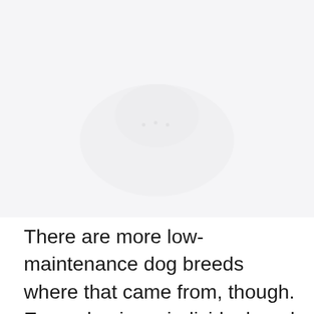[Figure (photo): A largely blank or faded image area occupying the upper portion of the page, light gray/white background with very faint indistinct content.]
There are more low-maintenance dog breeds where that came from, though. Every dog is an individual, and some